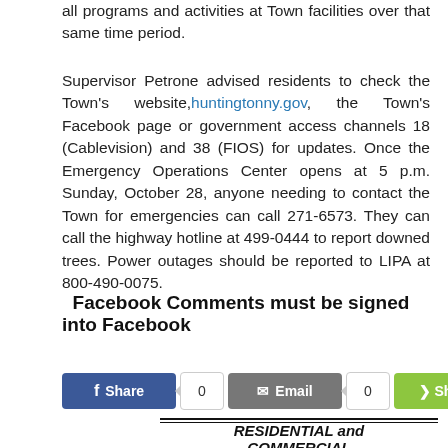all programs and activities at Town facilities over that same time period.
Supervisor Petrone advised residents to check the Town's website, huntingtonny.gov, the Town's Facebook page or government access channels 18 (Cablevision) and 38 (FIOS) for updates. Once the Emergency Operations Center opens at 5 p.m. Sunday, October 28, anyone needing to contact the Town for emergencies can call 271-6573. They can call the highway hotline at 499-0444 to report downed trees. Power outages should be reported to LIPA at 800-490-0075.
Facebook Comments must be signed into Facebook
[Figure (other): Social share buttons: Facebook Share (count: 0), Email (count: 0), Share (green button), New button]
RESIDENTIAL and COMMERCIAL